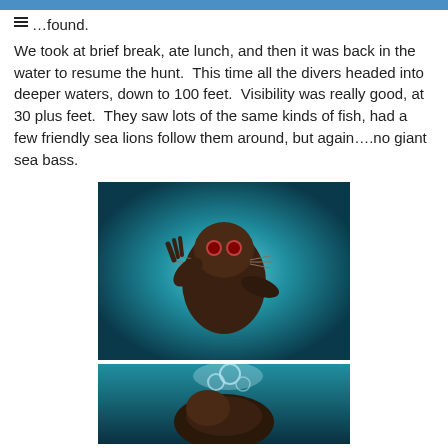…found.
We took at brief break, ate lunch, and then it was back in the water to resume the hunt. This time all the divers headed into deeper waters, down to 100 feet. Visibility was really good, at 30 plus feet. They saw lots of the same kinds of fish, had a few friendly sea lions follow them around, but again….no giant sea bass.
[Figure (photo): Underwater photo of a sea lion swimming toward the camera, viewed from below, with a teal/blue water background and light coming from above.]
[Figure (photo): Underwater photo showing a sea lion with bubbles rising, teal/dark blue water background.]